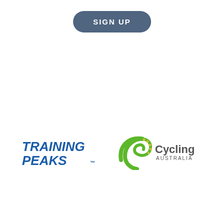SIGN UP
[Figure (logo): TrainingPeaks logo — bold italic blue text 'TRAINING PEAKS' with TM mark]
[Figure (logo): Cycling Australia logo — green swirl icon with 'Cycling AUSTRALIA' text]